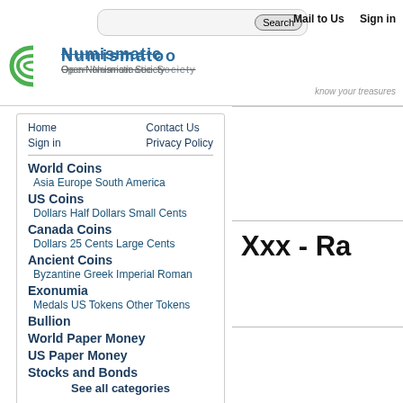Numismatic website header with search bar, Mail to Us, Sign in links, logo and tagline 'know your treasures'
Home   Contact Us
Sign in   Privacy Policy
World Coins
Asia   Europe   South America
US Coins
Dollars   Half Dollars   Small Cents
Canada Coins
Dollars   25 Cents   Large Cents
Ancient Coins
Byzantine   Greek   Imperial Roman
Exonumia
Medals   US Tokens   Other Tokens
Bullion
World Paper Money
US Paper Money
Stocks and Bonds
See all categories
Paper Money: World
Middle East   Other   South America
Africa   Asia   Australia & Oceania
Xxx - Ra
Numismatic data and valuation estimates p
Contact User